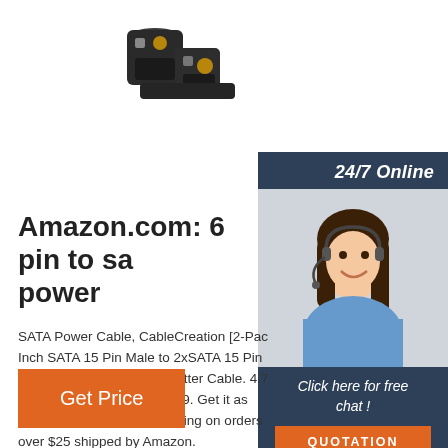[Figure (photo): Product image of a black SATA power cable connector/adapter against white background]
[Figure (photo): 24/7 Online chat widget showing a smiling female customer service agent wearing a headset, with 'Click here for free chat!' text and a QUOTATION button]
Amazon.com: 6 pin to sa power
SATA Power Cable, CableCreation [2-Pac Inch SATA 15 Pin Male to 2xSATA 15 Pin M Angle Female Power Splitter Cable. 4.7 ou stars. 569. $6.99. $6. . 99. Get it as soon a Oct 27. FREE Shipping on orders over $25 shipped by Amazon.
Get Price